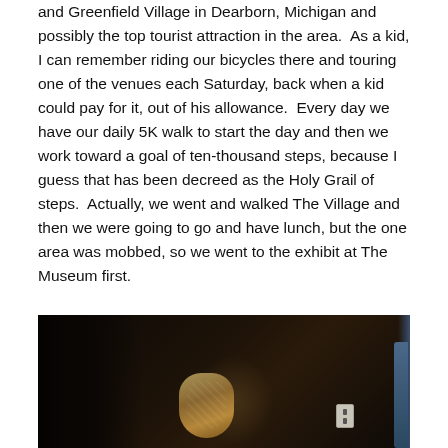and Greenfield Village in Dearborn, Michigan and possibly the top tourist attraction in the area.  As a kid, I can remember riding our bicycles there and touring one of the venues each Saturday, back when a kid could pay for it, out of his allowance.  Every day we have our daily 5K walk to start the day and then we work toward a goal of ten-thousand steps, because I guess that has been decreed as the Holy Grail of steps.  Actually, we went and walked The Village and then we were going to go and have lunch, but the one area was mobbed, so we went to the exhibit at The Museum first.
[Figure (photo): Dark interior museum photo showing what appears to be a colorful artifact or sculpture on display, with a wall outlet visible on the right side and a dark atmospheric background.]